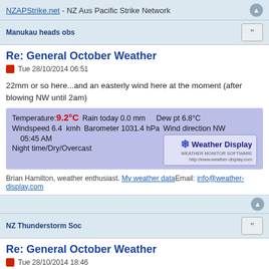NZAPStrike.net - NZ Aus Pacific Strike Network
Manukau heads obs
Re: General October Weather
Tue 28/10/2014 06:51
22mm or so here...and an easterly wind here at the moment (after blowing NW until 2am)
[Figure (infographic): Weather Display widget showing: Temperature 9.2°C, Rain today 0.0 mm, Dew pt 6.8°C, Windspeed 6.4 kmh, Barometer 1031.4 hPa, Wind direction NW, 05:45 AM, Night time/Dry/Overcast, with Weather Display logo]
Brian Hamilton, weather enthusiast. My weather data Email: info@weather-display.com
NZ Thunderstorm Soc
Re: General October Weather
Tue 28/10/2014 18:46
Very strong ENE in ChCh today but not as bad out here in West Melton.